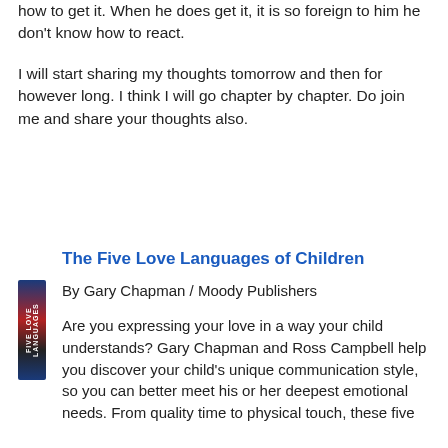how to get it. When he does get it, it is so foreign to him he don't know how to react.
I will start sharing my thoughts tomorrow and then for however long. I think I will go chapter by chapter. Do join me and share your thoughts also.
The Five Love Languages of Children
By Gary Chapman / Moody Publishers
[Figure (illustration): Book spine/cover of The Five Love Languages of Children, shown as a narrow vertical book image with blue and red coloring.]
Are you expressing your love in a way your child understands? Gary Chapman and Ross Campbell help you discover your child's unique communication style, so you can better meet his or her deepest emotional needs. From quality time to physical touch, these five